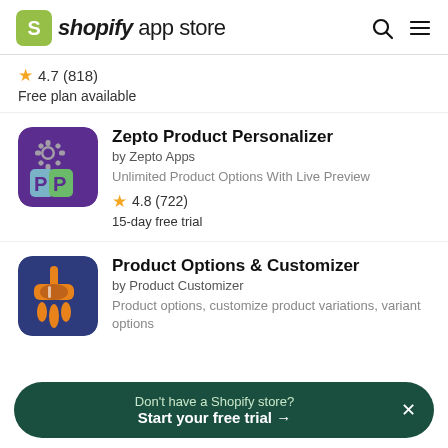shopify app store
4.7 (818)
Free plan available
[Figure (logo): Zepto Product Personalizer app icon - purple background with gear and two P letters]
Zepto Product Personalizer
by Zepto Apps
Unlimited Product Options With Live Preview
4.8 (722)
15-day free trial
[Figure (logo): Product Options & Customizer app icon - dark blue background with orange paint roller dripping]
Product Options & Customizer
by Product Customizer
Product options, customize product variations, variant options
Don't have a Shopify store?
Start your free trial →